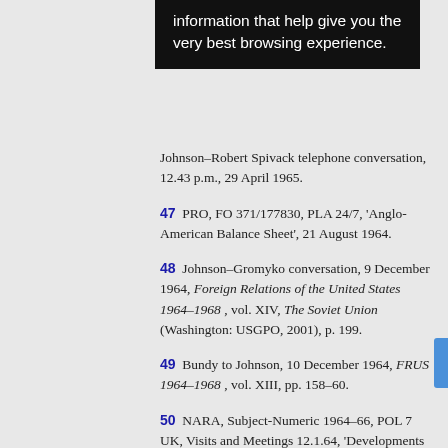[Figure (screenshot): Black cookie consent banner with white text reading 'information that help give you the very best browsing experience.']
Johnson–Robert Spivack telephone conversation, 12.43 p.m., 29 April 1965.
47  PRO, FO 371/177830, PLA 24/7, 'Anglo-American Balance Sheet', 21 August 1964.
48  Johnson–Gromyko conversation, 9 December 1964, Foreign Relations of the United States 1964–1968, vol. XIV, The Soviet Union (Washington: USGPO, 2001), p. 199.
49  Bundy to Johnson, 10 December 1964, FRUS 1964–1968, vol. XIII, pp. 158–60.
50  NARA, Subject-Numeric 1964–66, POL 7 UK, Visits and Meetings 12.1.64, 'Developments in US Relations with Western Europe: Discussions with Prime